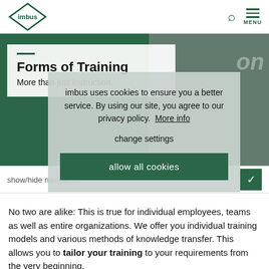imbus [logo]
Forms of Training
More than just instruction.
show/hide navigation
No two are alike: This is true for individual employees, teams as well as entire organizations. We offer you individual training models and various methods of knowledge transfer. This allows you to tailor your training to your requirements from the very beginning.
imbus uses cookies to ensure you a better service. By using our site, you agree to our privacy policy. More info

change settings

allow all cookies